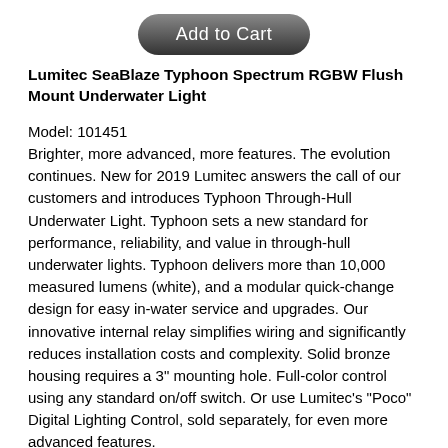[Figure (other): Add to Cart button — dark gray rounded pill-shaped button with white text]
Lumitec SeaBlaze Typhoon Spectrum RGBW Flush Mount Underwater Light
Model: 101451
Brighter, more advanced, more features. The evolution continues. New for 2019 Lumitec answers the call of our customers and introduces Typhoon Through-Hull Underwater Light. Typhoon sets a new standard for performance, reliability, and value in through-hull underwater lights. Typhoon delivers more than 10,000 measured lumens (white), and a modular quick-change design for easy in-water service and upgrades. Our innovative internal relay simplifies wiring and significantly reduces installation costs and complexity. Solid bronze housing requires a 3" mounting hole. Full-color control using any standard on/off switch. Or use Lumitec's "Poco" Digital Lighting Control, sold separately, for even more advanced features.